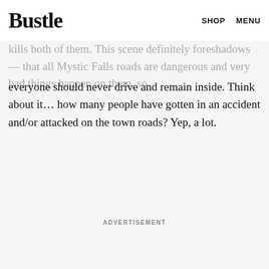Bustle   SHOP   MENU
kills both of them. This scene definitely foreshadows — that all Mystic Falls roads are dangerous and very bad things happen on them, so
everyone should never drive and remain inside. Think about it… how many people have gotten in an accident and/or attacked on the town roads? Yep, a lot.
ADVERTISEMENT